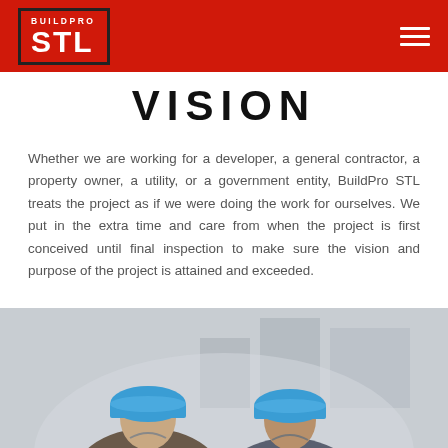STL BUILDPRO [logo] | hamburger menu
VISION
Whether we are working for a developer, a general contractor, a property owner, a utility, or a government entity, BuildPro STL treats the project as if we were doing the work for ourselves. We put in the extra time and care from when the project is first conceived until final inspection to make sure the vision and purpose of the project is attained and exceeded.
[Figure (photo): Two construction workers wearing blue hard hats at a job site, viewed from slightly above, with a building structure visible in the background.]